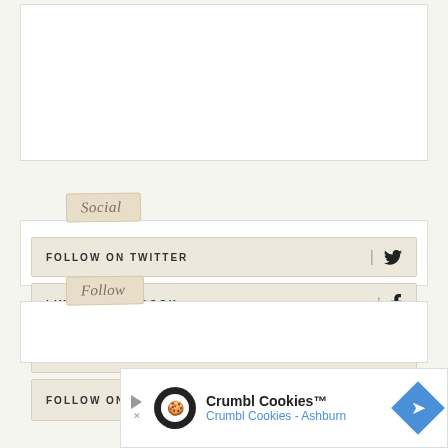[Figure (other): White box placeholder area at top of page]
Social
FOLLOW ON TWITTER
LIKE ON FACEBOOK
FOLLOW ON INSTAGRAM
FOLLOW ON PINTEREST
Follow
[Figure (other): Crumbl Cookies advertisement banner showing logo, brand name, and location Ashburn with navigation arrow icon]